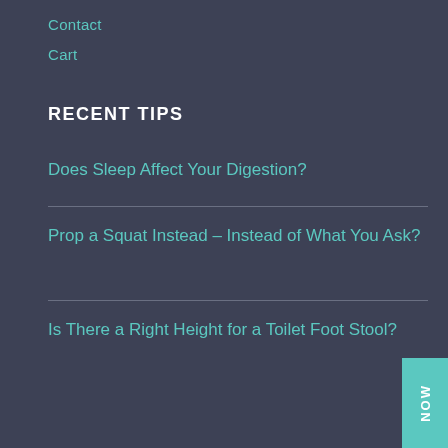Contact
Cart
RECENT TIPS
Does Sleep Affect Your Digestion?
Prop a Squat Instead – Instead of What You Ask?
Is There a Right Height for a Toilet Foot Stool?